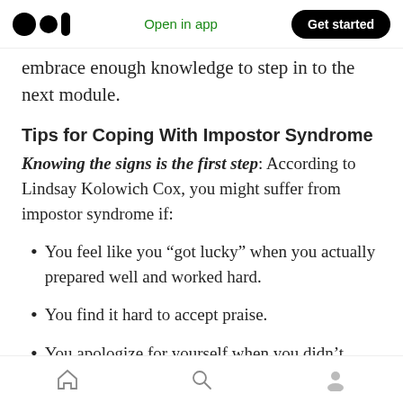Open in app | Get started
embrace enough knowledge to step in to the next module.
Tips for Coping With Impostor Syndrome
Knowing the signs is the first step: According to Lindsay Kolowich Cox, you might suffer from impostor syndrome if:
You feel like you “got lucky” when you actually prepared well and worked hard.
You find it hard to accept praise.
You apologize for yourself when you didn’t
Home | Search | Profile